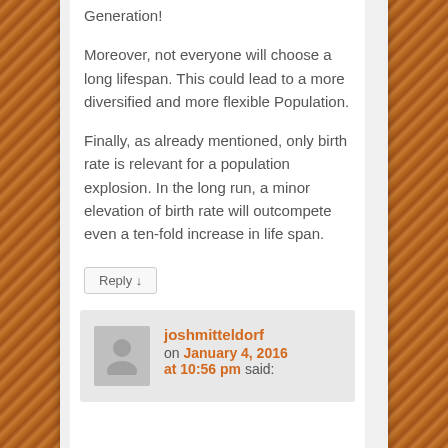Generation!
Moreover, not everyone will choose a long lifespan. This could lead to a more diversified and more flexible Population.
Finally, as already mentioned, only birth rate is relevant for a population explosion. In the long run, a minor elevation of birth rate will outcompete even a ten-fold increase in life span.
Reply ↓
joshmitteldorf on January 4, 2016 at 10:56 pm said: